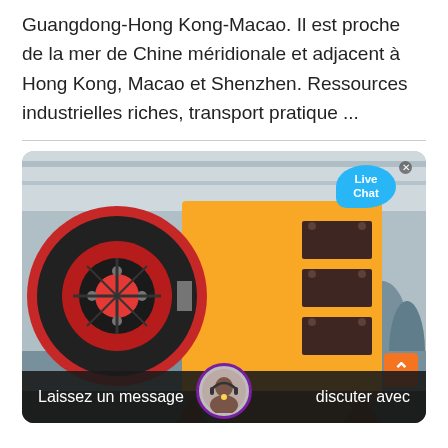Guangdong-Hong Kong-Macao. Il est proche de la mer de Chine méridionale et adjacent à Hong Kong, Macao et Shenzhen. Ressources industrielles riches, transport pratique ...
[Figure (photo): Large industrial jaw crusher machine in yellow color with a black and red flywheel on the left side, photographed in a factory/industrial setting. A 'Live Chat' bubble is overlaid in the upper right corner.]
Laissez un message    discuter avec